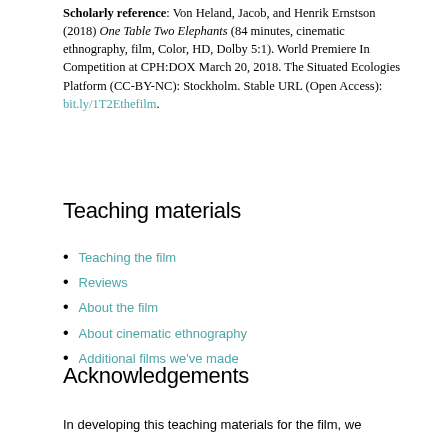Scholarly reference: Von Heland, Jacob, and Henrik Ernstson (2018) One Table Two Elephants (84 minutes, cinematic ethnography, film, Color, HD, Dolby 5:1). World Premiere In Competition at CPH:DOX March 20, 2018. The Situated Ecologies Platform (CC-BY-NC): Stockholm. Stable URL (Open Access): bit.ly/1T2Ethefilm.
Teaching materials
Teaching the film
Reviews
About the film
About cinematic ethnography
Additional films we've made
Acknowledgements
In developing this teaching materials for the film, we